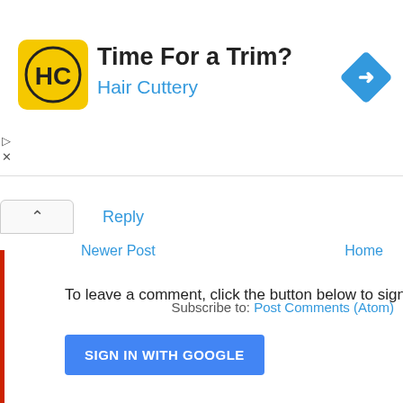[Figure (screenshot): Hair Cuttery advertisement banner with yellow logo showing 'HC', headline 'Time For a Trim?', subheading 'Hair Cuttery', and a blue navigation arrow diamond icon on the right.]
Reply
To leave a comment, click the button below to sign in with
SIGN IN WITH GOOGLE
Newer Post
Home
Subscribe to: Post Comments (Atom)